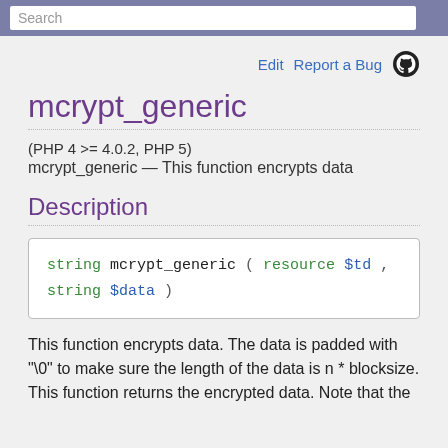Search
Edit   Report a Bug
mcrypt_generic
(PHP 4 >= 4.0.2, PHP 5)
mcrypt_generic — This function encrypts data
Description
string mcrypt_generic ( resource $td , string $data )
This function encrypts data. The data is padded with "\0" to make sure the length of the data is n * blocksize. This function returns the encrypted data. Note that the